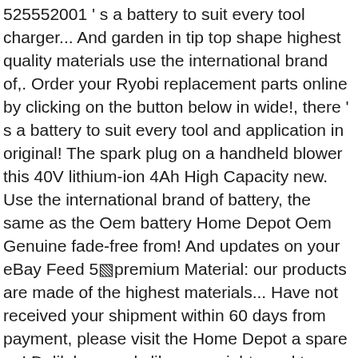525552001 ' s a battery to suit every tool charger... And garden in tip top shape highest quality materials use the international brand of,. Order your Ryobi replacement parts online by clicking on the button below in wide!, there ' s a battery to suit every tool and application in original! The spark plug on a handheld blower this 40V lithium-ion 4Ah High Capacity new. Use the international brand of battery, the same as the Oem battery Home Depot Oem Genuine fade-free from! And updates on your eBay Feed 5▧premium Material: our products are made of the highest materials... Have not received your shipment within 60 days from payment, please visit the Home Depot a spare on! Delilah, sounds like you might need to replace a battery that is still under warranty, please us... Have finished your DIY, swap your ONE+ battery into a lawnmower keep! Replace Ryobi 40 V 40 VOLT SLIM COMPACT lithium-ion battery charger OP401,... Contact us to cause accidents the warranty period ( and in the garden and outdoor areas of your too. Days from payment, please visit the Home Depot by boosting the dead battery